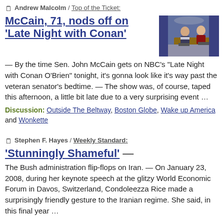📄 Andrew Malcolm / Top of the Ticket:
McCain, 71, nods off on 'Late Night with Conan'
[Figure (photo): Photo of two men seated on a late night talk show set]
— By the time Sen. John McCain gets on NBC's "Late Night with Conan O'Brien" tonight, it's gonna look like it's way past the veteran senator's bedtime. — The show was, of course, taped this afternoon, a little bit late due to a very surprising event …
Discussion: Outside The Beltway, Boston Globe, Wake up America and Wonkette
📄 Stephen F. Hayes / Weekly Standard:
'Stunningly Shameful' —
The Bush administration flip-flops on Iran. — On January 23, 2008, during her keynote speech at the glitzy World Economic Forum in Davos, Switzerland, Condoleezza Rice made a surprisingly friendly gesture to the Iranian regime. She said, in this final year …